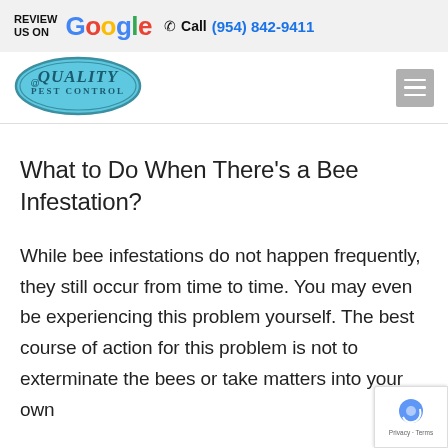REVIEW US ON Google ☎ Call (954) 842-9411
[Figure (logo): Quality Pest Control oval blue logo]
What to Do When There's a Bee Infestation?
While bee infestations do not happen frequently, they still occur from time to time. You may even be experiencing this problem yourself. The best course of action for this problem is not to exterminate the bees or take matters into your own